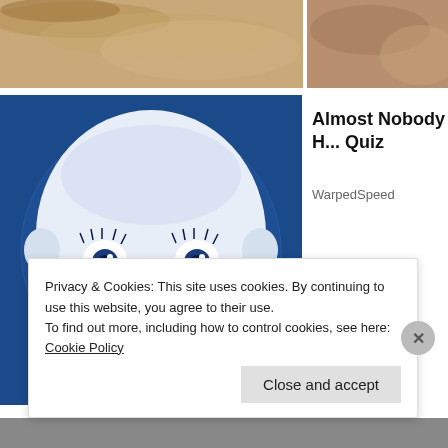[Figure (photo): Cropped top portion of a woman's face showing hair and forehead, split into two sections]
[Figure (illustration): Blue background illustration of a baby face (Gerber-style) rendered in sketch/engraving style with white and dark blue tones]
Almost Nobody H... Quiz
WarpedSpeed
Privacy & Cookies: This site uses cookies. By continuing to use this website, you agree to their use.
To find out more, including how to control cookies, see here: Cookie Policy
Close and accept